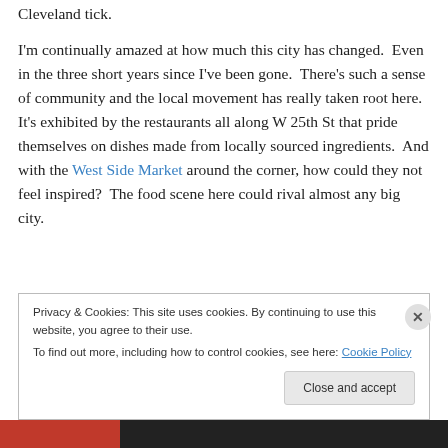Cleveland tick.
I'm continually amazed at how much this city has changed.  Even in the three short years since I've been gone.  There's such a sense of community and the local movement has really taken root here.  It's exhibited by the restaurants all along W 25th St that pride themselves on dishes made from locally sourced ingredients.  And with the West Side Market around the corner, how could they not feel inspired?  The food scene here could rival almost any big city.
Privacy & Cookies: This site uses cookies. By continuing to use this website, you agree to their use.
To find out more, including how to control cookies, see here: Cookie Policy